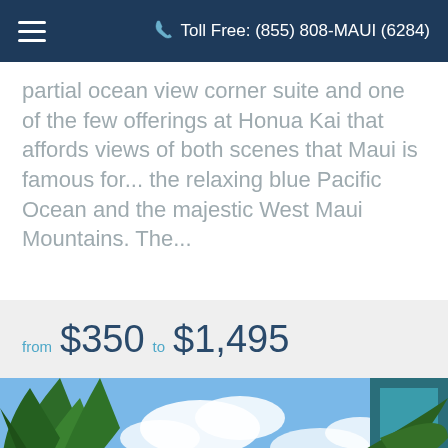Toll Free: (855) 808-MAUI (6284)
partial ocean view corner suite and one of the few offerings at Honua Kai that affords views of both scenes that Maui is famous for... the relaxing blue Pacific Ocean and the majestic West Maui Mountains. The...
from $350  to $1,495
[Figure (photo): Outdoor photo showing tropical palm trees and lush green foliage in the foreground against a bright blue sky with white clouds. A modern building with teal/aqua accents is visible in the upper right corner. The blue ocean is visible in the background.]